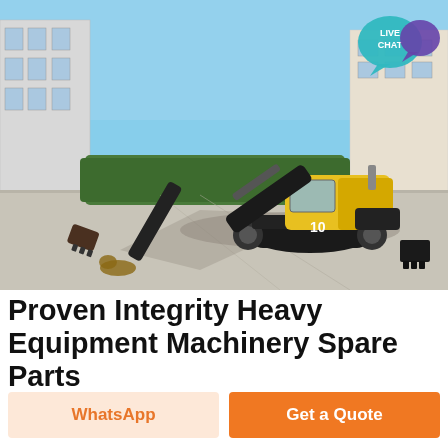[Figure (photo): A small yellow and black mini excavator (model 10) photographed outdoors on a concrete surface, with industrial buildings and hedges in the background. A 'LIVE CHAT' speech bubble badge is overlaid in the upper right corner of the image.]
Proven Integrity Heavy Equipment Machinery Spare Parts
WhatsApp
Get a Quote